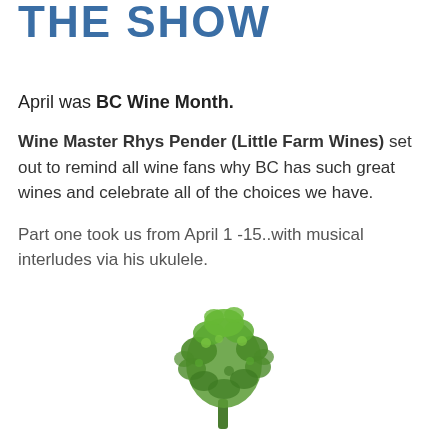THE SHOW
April was BC Wine Month.
Wine Master Rhys Pender (Little Farm Wines) set out to remind all wine fans why BC has such great wines and celebrate all of the choices we have.
Part one took us from April 1 -15..with musical interludes via his ukulele.
[Figure (illustration): A green illustrated tree/plant with many leaves, resembling a grapevine or decorative tree logo]